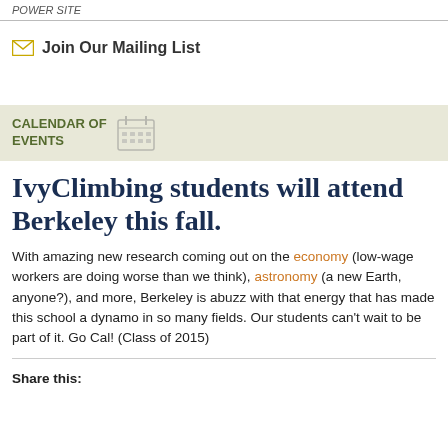POWER SITE
Join Our Mailing List
CALENDAR of EVENTS
IvyClimbing students will attend Berkeley this fall.
With amazing new research coming out on the economy (low-wage workers are doing worse than we think), astronomy (a new Earth, anyone?), and more, Berkeley is abuzz with that energy that has made this school a dynamo in so many fields. Our students can't wait to be part of it. Go Cal! (Class of 2015)
Share this: